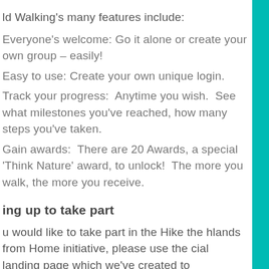ld Walking's many features include:
Everyone's welcome: Go it alone or create your own group – easily!
Easy to use: Create your own unique login.
Track your progress:  Anytime you wish.  See what milestones you've reached, how many steps you've taken.
Gain awards:  There are 20 Awards, a special 'Think Nature' award, to unlock!  The more you walk, the more you receive.
ing up to take part
u would like to take part in the Hike the hlands from Home initiative, please use the cial landing page which we've created to